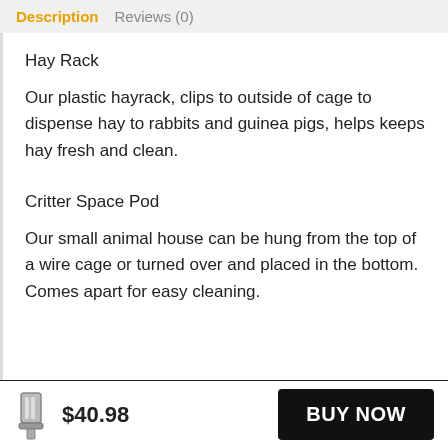Description   Reviews (0)
Hay Rack
Our plastic hayrack, clips to outside of cage to dispense hay to rabbits and guinea pigs, helps keeps hay fresh and clean.
Critter Space Pod
Our small animal house can be hung from the top of a wire cage or turned over and placed in the bottom. Comes apart for easy cleaning.
$40.98   BUY NOW